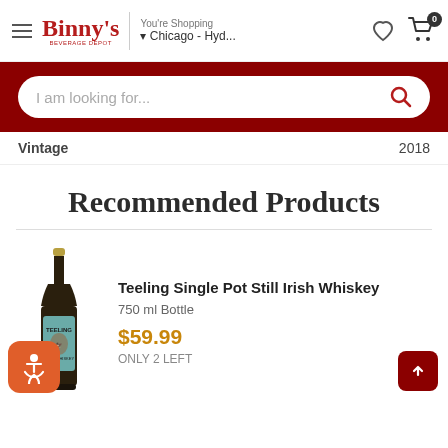Binny's Beverage Depot — You're Shopping Chicago - Hyd...
I am looking for...
| Vintage | 2018 |
| --- | --- |
| Vintage | 2018 |
Recommended Products
[Figure (photo): Bottle of Teeling Single Pot Still Irish Whiskey, 750ml, dark amber bottle with teal label]
Teeling Single Pot Still Irish Whiskey
750 ml Bottle
$59.99